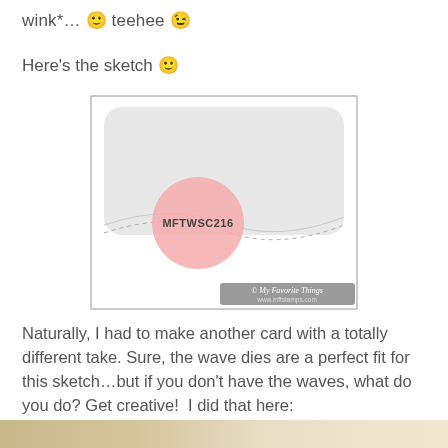wink*… 🙂 teehee 😉
Here's the sketch 🙂
[Figure (illustration): Card sketch layout diagram labeled MFTWSC216. Shows a rectangular card outline with a rounded rectangle (light gray) in the upper portion, a wavy dashed line across the middle, and a pink circle labeled MFTWSC216 on the left side. A gray banner in the lower right reads '© My Favorite Things www.mftstamps.com'.]
Naturally, I had to make another card with a totally different take. Sure, the wave dies are a perfect fit for this sketch…but if you don't have the waves, what do you do? Get creative!  I did that here:
[Figure (photo): Partial photo visible at bottom of page showing a card with warm background colors.]